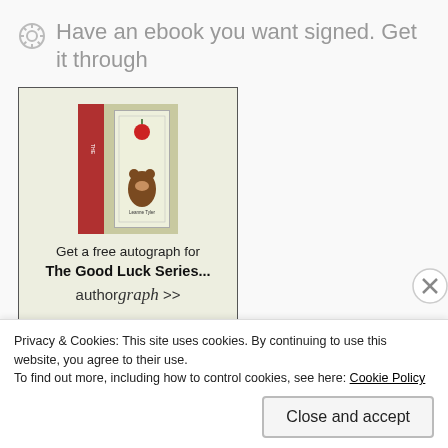Have an ebook you want signed. Get it through
[Figure (illustration): Book widget with image of 'The Good Luck Series' books, text 'Get a free autograph for The Good Luck Series... authorgraph >>']
Available Now
Privacy & Cookies: This site uses cookies. By continuing to use this website, you agree to their use.
To find out more, including how to control cookies, see here: Cookie Policy
Close and accept